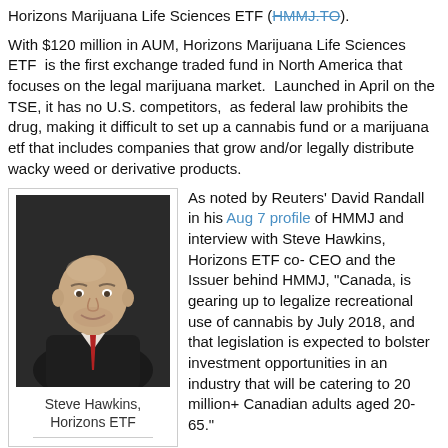Horizons Marijuana Life Sciences ETF (HMMJ.TO).
With $120 million in AUM, Horizons Marijuana Life Sciences ETF is the first exchange traded fund in North America that focuses on the legal marijuana market. Launched in April on the TSE, it has no U.S. competitors, as federal law prohibits the drug, making it difficult to set up a cannabis fund or a marijuana etf that includes companies that grow and/or legally distribute wacky weed or derivative products.
[Figure (photo): Headshot photo of Steve Hawkins, a bald middle-aged man in a suit with a red tie, against a dark background]
Steve Hawkins, Horizons ETF
As noted by Reuters' David Randall in his Aug 7 profile of HMMJ and interview with Steve Hawkins, Horizons ETF co-CEO and the Issuer behind HMMJ, "Canada, is gearing up to legalize recreational use of cannabis by July 2018, and that legislation is expected to bolster investment opportunities in an industry that will be catering to 20 million+ Canadian adults aged 20-65."
So, aside from the direct constituents of the companies that cater to